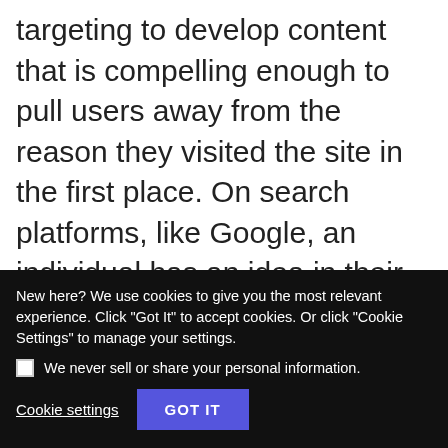targeting to develop content that is compelling enough to pull users away from the reason they visited the site in the first place. On search platforms, like Google, an individual has an idea in their mind of what they're looking for before they visit the site.
Marrying these two concepts together, Pinterest is essentially a visual search
New here? We use cookies to give you the most relevant experience. Click "Got It" to accept cookies. Or click "Cookie Settings" to manage your settings.
We never sell or share your personal information.
Cookie settings
GOT IT